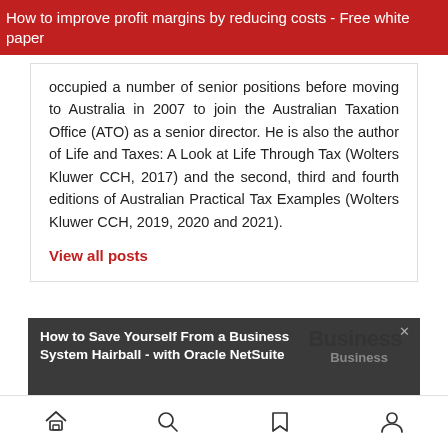How to improve profit margins by reducing costs - Free white paper
occupied a number of senior positions before moving to Australia in 2007 to join the Australian Taxation Office (ATO) as a senior director. He is also the author of Life and Taxes: A Look at Life Through Tax (Wolters Kluwer CCH, 2017) and the second, third and fourth editions of Australian Practical Tax Examples (Wolters Kluwer CCH, 2019, 2020 and 2021).
View all posts
[Figure (screenshot): Advertisement banner: 'How to Save Yourself From a Business System Hairball - with Oracle NetSuite' with a Business logo and close button]
Navigation bar with home, search, bookmark, and profile icons